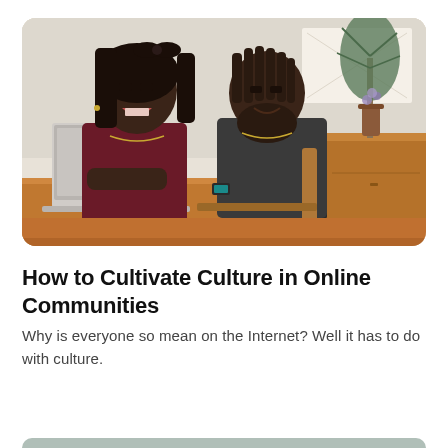[Figure (photo): Two people, a woman and a man, sitting together at a wooden table looking at a laptop. The woman has long dark hair with a bow headband and is wearing a dark red top. The man has dreadlocks and a beard, wearing a dark gray top. A mug and phone are on the table. There is a plant and wooden credenza with decorative objects in the background.]
How to Cultivate Culture in Online Communities
Why is everyone so mean on the Internet? Well it has to do with culture.